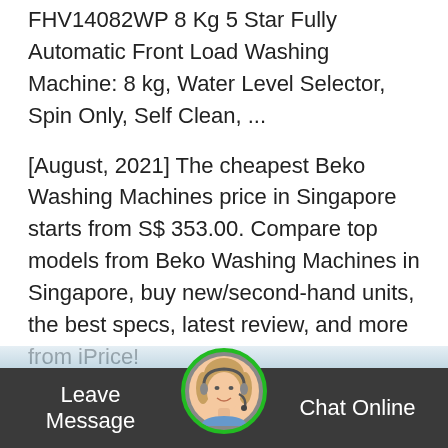FHV14082WP 8 Kg 5 Star Fully Automatic Front Load Washing Machine: 8 kg, Water Level Selector, Spin Only, Self Clean, ...
[August, 2021] The cheapest Beko Washing Machines price in Singapore starts from S$ 353.00. Compare top models from Beko Washing Machines in Singapore, buy new/second-hand units, the best specs, latest review, and more from iPrice!
Midea washing machine price, harga in Malaysia - mesin basuh - List of products for sale, auction, wtb or wts for our supplier / seller. ; Cari barangan untuk dijual, di jual atau bidaan dari penjual/pembekal kita.
Leave Message   Chat Online